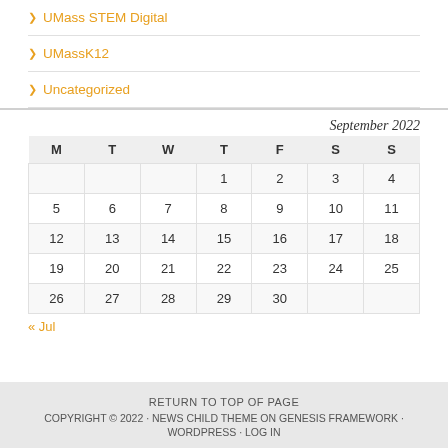UMass STEM Digital
UMassK12
Uncategorized
| M | T | W | T | F | S | S |
| --- | --- | --- | --- | --- | --- | --- |
|  |  |  | 1 | 2 | 3 | 4 |
| 5 | 6 | 7 | 8 | 9 | 10 | 11 |
| 12 | 13 | 14 | 15 | 16 | 17 | 18 |
| 19 | 20 | 21 | 22 | 23 | 24 | 25 |
| 26 | 27 | 28 | 29 | 30 |  |  |
« Jul
RETURN TO TOP OF PAGE · COPYRIGHT © 2022 · NEWS CHILD THEME ON GENESIS FRAMEWORK · WORDPRESS · LOG IN